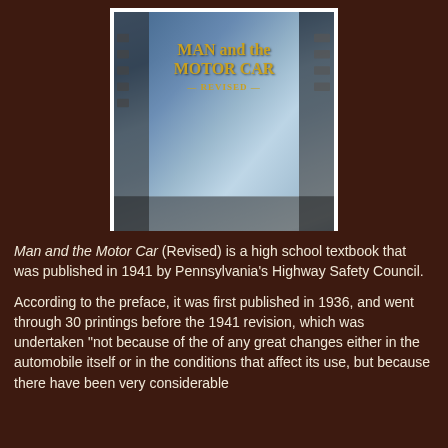[Figure (photo): A worn blue hardcover book titled 'MAN and the MOTOR CAR — REVISED —' resting on a laptop keyboard]
Man and the Motor Car (Revised) is a high school textbook that was published in 1941 by Pennsylvania's Highway Safety Council.
According to the preface, it was first published in 1936, and went through 30 printings before the 1941 revision, which was undertaken "not because of the of any great changes either in the automobile itself or in the conditions that affect its use, but because there have been very considerable